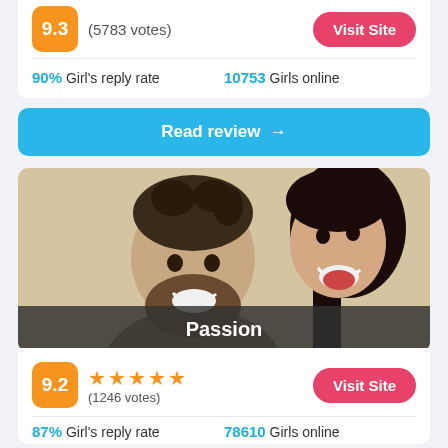9.3 (5783 votes)
Visit Site
90% Girl's reply rate   10753 Girls online
Read review →
[Figure (photo): A smiling couple, man with beard and woman with long dark hair laughing, with semi-transparent overlay label 'Passion' at the bottom]
Passion
9.2  ★★★★★ (1246 votes)
Visit Site
87% Girl's reply rate   78610 Girls online